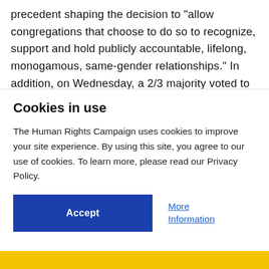precedent shaping the decision to "allow congregations that choose to do so to recognize, support and hold publicly accountable, lifelong, monogamous, same-gender relationships." In addition, on Wednesday, a 2/3 majority voted to
Cookies in use
The Human Rights Campaign uses cookies to improve your site experience. By using this site, you agree to our use of cookies. To learn more, please read our Privacy Policy.
Accept
More Information